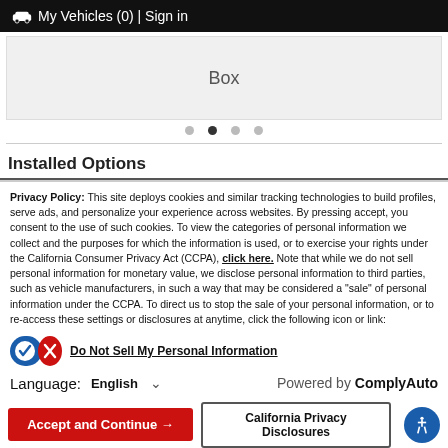🚗 My Vehicles (0) | Sign in
[Figure (screenshot): Slider/image area showing 'Box' placeholder with navigation dots below (4 dots, second active)]
Installed Options
Privacy Policy: This site deploys cookies and similar tracking technologies to build profiles, serve ads, and personalize your experience across websites. By pressing accept, you consent to the use of such cookies. To view the categories of personal information we collect and the purposes for which the information is used, or to exercise your rights under the California Consumer Privacy Act (CCPA), click here. Note that while we do not sell personal information for monetary value, we disclose personal information to third parties, such as vehicle manufacturers, in such a way that may be considered a "sale" of personal information under the CCPA. To direct us to stop the sale of your personal information, or to re-access these settings or disclosures at anytime, click the following icon or link:
Do Not Sell My Personal Information
Language: English    Powered by ComplyAuto
Accept and Continue →    California Privacy Disclosures